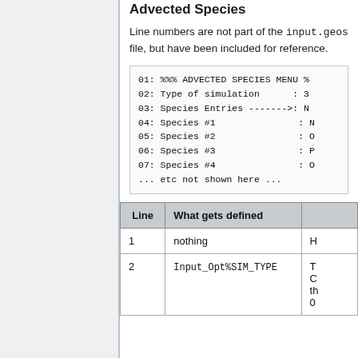Advected Species
Line numbers are not part of the input.geos file, but have been included for reference.
01: %%% ADVECTED SPECIES MENU %%%
02: Type of simulation           : 3
03: Species Entries ------->: N
04: Species #1                   : N
05: Species #2                   : O
06: Species #3                   : P
07: Species #4                   : O
... etc not shown here ...
| Line | What gets defined |  |
| --- | --- | --- |
| 1 | nothing | H |
| 2 | Input_Opt%SIM_TYPE | T
C
th
0 |